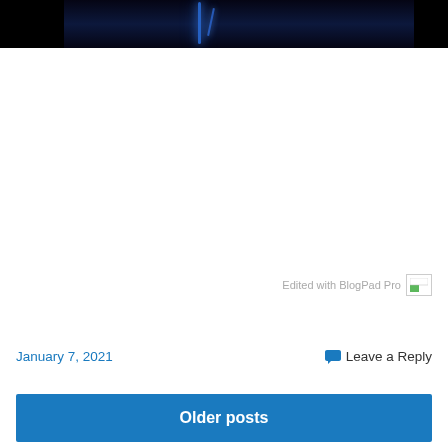[Figure (photo): Dark photo with blue neon light, partially cropped at top of page]
Edited with BlogPad Pro
January 7, 2021
Leave a Reply
Older posts